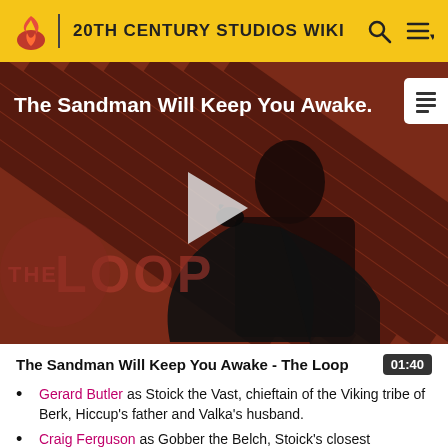20TH CENTURY STUDIOS WIKI
[Figure (screenshot): Video thumbnail for 'The Sandman Will Keep You Awake - The Loop' showing a dark figure in black against a red diagonal striped background with THE LOOP watermark and a play button in the center]
The Sandman Will Keep You Awake - The Loop
Gerard Butler as Stoick the Vast, chieftain of the Viking tribe of Berk, Hiccup's father and Valka's husband.
Craig Ferguson as Gobber the Belch, Stoick's closest